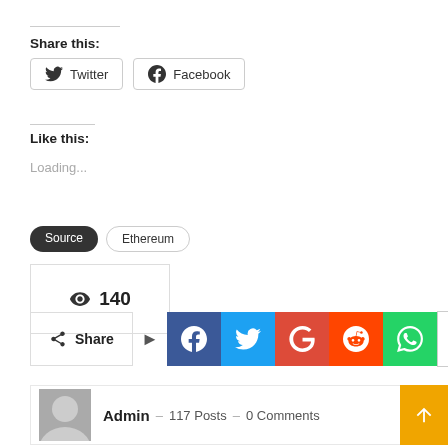Share this:
Twitter  Facebook
Like this:
Loading...
Source
Ethereum
140
Share
Admin  –  117 Posts  –  0 Comments